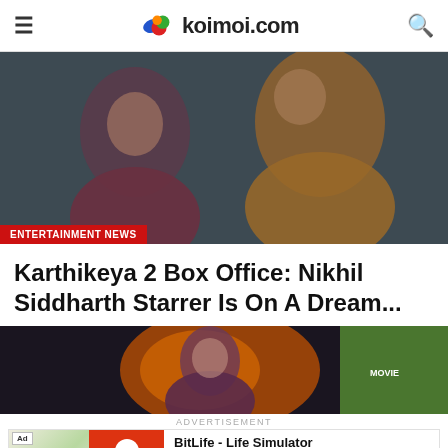koimoi.com
[Figure (photo): Movie still from Karthikeya 2 showing a young woman in dark clothing and a man in a brown jacket, dark moody background. ENTERTAINMENT NEWS tag at bottom left.]
Karthikeya 2 Box Office: Nikhil Siddharth Starrer Is On A Dream...
[Figure (photo): A woman with dark hair smiling, dramatic red/orange background, with a thumbnail image overlay on the right showing a movie poster.]
ADVERTISEMENT
[Figure (screenshot): BitLife - Life Simulator advertisement banner with Ad badge, green/food imagery on left, orange/red panel with sperm icon, and Install button on right.]